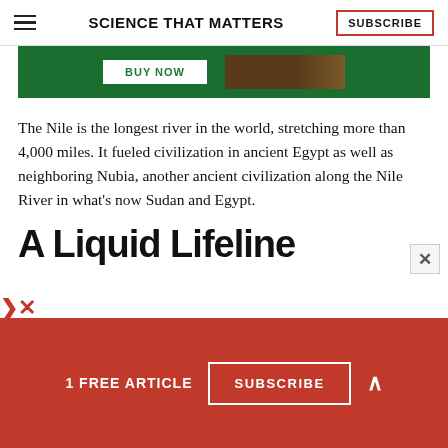SCIENCE THAT MATTERS | SUBSCRIBE
[Figure (photo): Green advertisement banner with BUY NOW button and a dark brown object (likely a book or product) on a green background]
The Nile is the longest river in the world, stretching more than 4,000 miles. It fueled civilization in ancient Egypt as well as neighboring Nubia, another ancient civilization along the Nile River in what’s now Sudan and Egypt.
A Liquid Lifeline
1 FREE ARTICLE  SUBSCRIBE